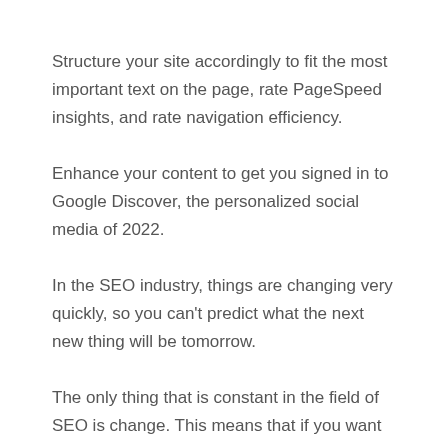Structure your site accordingly to fit the most important text on the page, rate PageSpeed insights, and rate navigation efficiency.
Enhance your content to get you signed in to Google Discover, the personalized social media of 2022.
In the SEO industry, things are changing very quickly, so you can't predict what the next new thing will be tomorrow.
The only thing that is constant in the field of SEO is change. This means that if you want to succeed in the SEO game, then you need to keep up to date with the new 2022 SEO trends so that you can optimize your website accordingly to rank higher on Google.